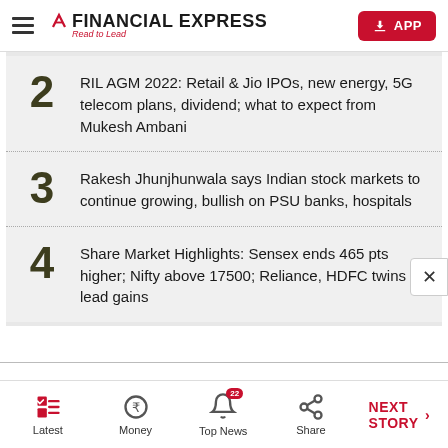Financial Express — Read to Lead
2 — RIL AGM 2022: Retail & Jio IPOs, new energy, 5G telecom plans, dividend; what to expect from Mukesh Ambani
3 — Rakesh Jhunjhunwala says Indian stock markets to continue growing, bullish on PSU banks, hospitals
4 — Share Market Highlights: Sensex ends 465 pts higher; Nifty above 17500; Reliance, HDFC twins lead gains
Latest | Money | Top News (22) | Share | NEXT STORY